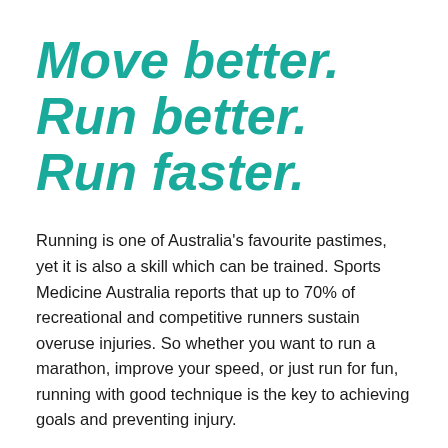Move better. Run better. Run faster.
Running is one of Australia's favourite pastimes, yet it is also a skill which can be trained. Sports Medicine Australia reports that up to 70% of recreational and competitive runners sustain overuse injuries. So whether you want to run a marathon, improve your speed, or just run for fun, running with good technique is the key to achieving goals and preventing injury.
Our biomechanical movement screen and video analysis of you running allow us to identify weaknesses that can be improved upon, and strength that can be built upon. Not only do